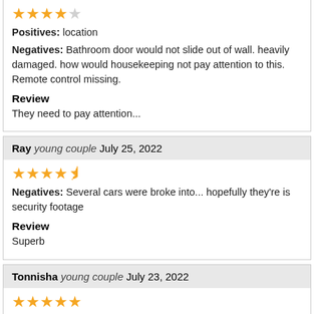Positives: location
Negatives: Bathroom door would not slide out of wall. heavily damaged. how would housekeeping not pay attention to this. Remote control missing.
Review
They need to pay attention...
Ray young couple July 25, 2022
Negatives: Several cars were broke into... hopefully they're is security footage
Review
Superb
Tonnisha young couple July 23, 2022
Review